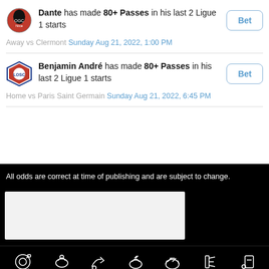Dante has made 80+ Passes in his last 2 Ligue 1 starts
Away vs Clermont Sunday Aug 21, 2022, 1:00 PM
Benjamin André has made 80+ Passes in his last 2 Ligue 1 starts
Home vs Paris Saint Germain Sunday Aug 21, 2022, 6:45 PM
All odds are correct at time of publishing and are subject to change.
[Figure (other): White/light grey placeholder box]
[Figure (infographic): Navigation bar icons: Free Bet, Tackles, Passes, Shots, Goals, Offsides, Cards]